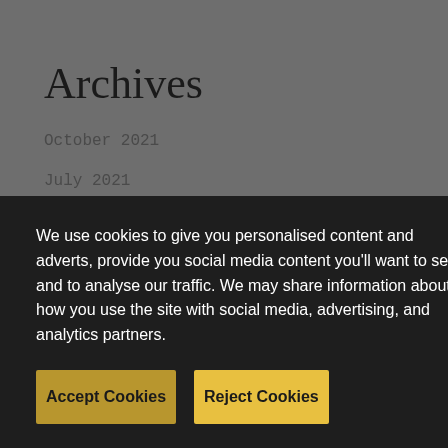Archives
October 2021
July 2021
June 2021
May 2021
April 2021
March 2021
We use cookies to give you personalised content and adverts, provide you social media content you'll want to see and to analyse our traffic. We may share information about how you use the site with social media, advertising, and analytics partners.
Accept Cookies
Reject Cookies